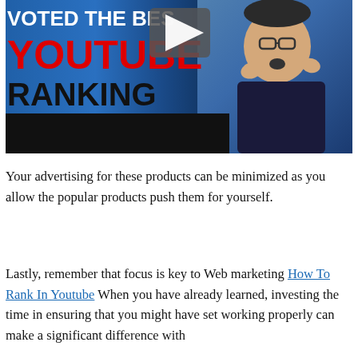[Figure (screenshot): Video thumbnail showing 'VOTED THE BEST YOUTUBE RANKING TOOL 2018' text overlay on blue background with a man gesturing, and a play button icon]
Your advertising for these products can be minimized as you allow the popular products push them for yourself.
Lastly, remember that focus is key to Web marketing How To Rank In Youtube When you have already learned, investing the time in ensuring that you might have set working properly can make a significant difference with